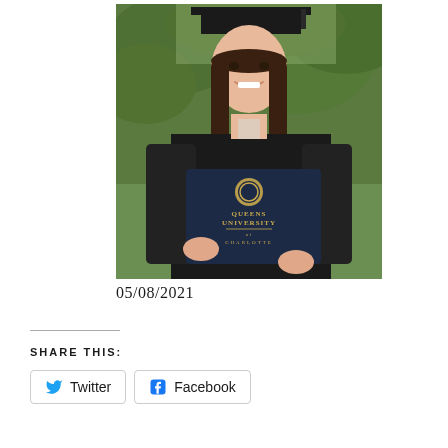[Figure (photo): A young woman in black graduation cap and gown smiling, holding a navy blue Queens University of Charlotte diploma cover, standing outdoors in front of green foliage.]
05/08/2021
SHARE THIS: